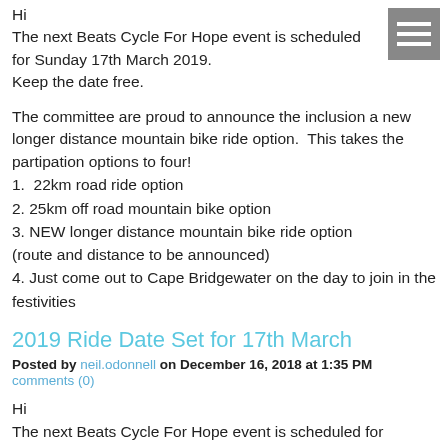Hi
The next Beats Cycle For Hope event is scheduled for Sunday 17th March 2019.
Keep the date free.
The committee are proud to announce the inclusion a new longer distance mountain bike ride option. This takes the partipation options to four!
1.  22km road ride option
2. 25km off road mountain bike option
3. NEW longer distance mountain bike ride option (route and distance to be announced)
4. Just come out to Cape Bridgewater on the day to join in the festivities
2019 Ride Date Set for 17th March
Posted by neil.odonnell on December 16, 2018 at 1:35 PM
comments (0)
Hi
The next Beats Cycle For Hope event is scheduled for